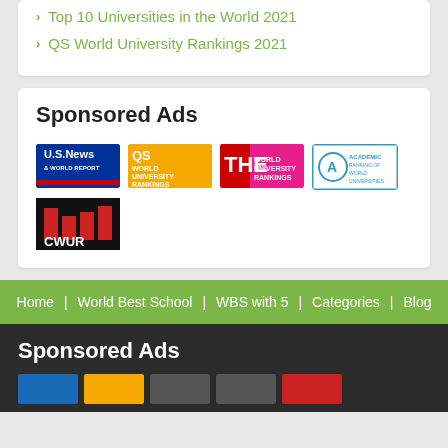Top 10 Universities in the World 2021
QS World University Rankings 2021
Sponsored Ads
[Figure (logo): Sponsored Ads logos: US News World Report, QS World University Rankings, THE World University Rankings, Academic Ranking of World Universities, CWUR]
Home | World Best School | WBS with 5 | Categories | Blog
Sponsored Ads